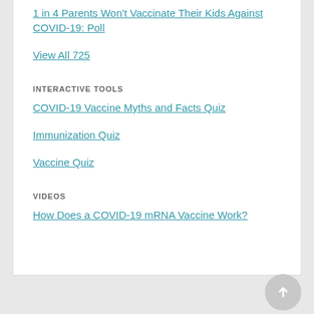1 in 4 Parents Won't Vaccinate Their Kids Against COVID-19: Poll
View All 725
INTERACTIVE TOOLS
COVID-19 Vaccine Myths and Facts Quiz
Immunization Quiz
Vaccine Quiz
VIDEOS
How Does a COVID-19 mRNA Vaccine Work?